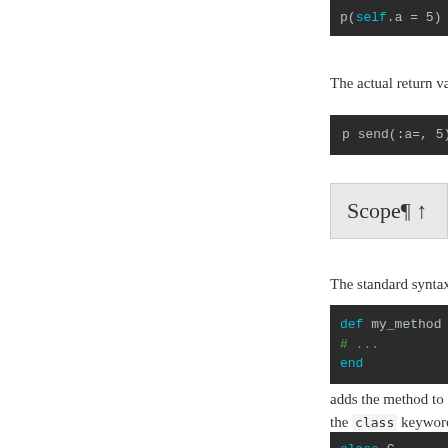[Figure (screenshot): Code block showing: p(self.a = 5) # p]
The actual return valu
[Figure (screenshot): Code block showing: p send(:a=, 5) #]
Scope¶ ↑
The standard syntax t
[Figure (screenshot): Code block showing: def my_method
  # ...
end]
adds the method to a c
the class keyword:
[Figure (screenshot): Code block showing: class C]